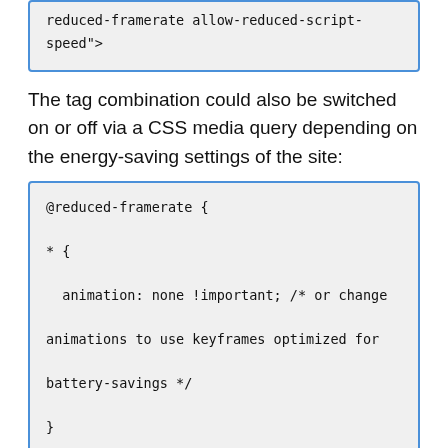[Figure (other): Code box (top, partial) showing: reduced-framerate allow-reduced-script-speed">]
The tag combination could also be switched on or off via a CSS media query depending on the energy-saving settings of the site:
[Figure (other): Code box showing CSS: @reduced-framerate { * { animation: none !important; /* or change animations to use keyframes optimized for battery-savings */ } }]